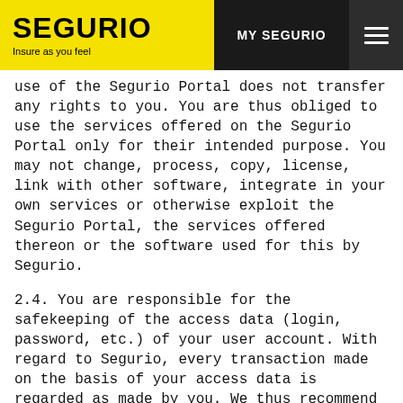SEGURIO — Insure as you feel | MY SEGURIO
use of the Segurio Portal does not transfer any rights to you. You are thus obliged to use the services offered on the Segurio Portal only for their intended purpose. You may not change, process, copy, license, link with other software, integrate in your own services or otherwise exploit the Segurio Portal, the services offered thereon or the software used for this by Segurio.
2.4. You are responsible for the safekeeping of the access data (login, password, etc.) of your user account. With regard to Segurio, every transaction made on the basis of your access data is regarded as made by you. We thus recommend that you treat your access data as confidential. If there is any suspicion of misuse, you must inform us of this immediately.